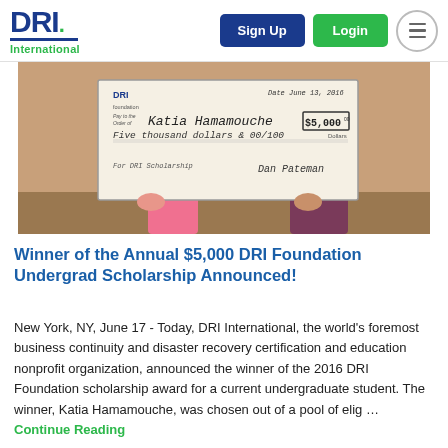DRI International — Sign Up | Login
[Figure (photo): Person holding a large ceremonial check made out to Katia Hamamouche for $5,000 from the DRI Foundation scholarship, signed and dated June 13, 2016]
Winner of the Annual $5,000 DRI Foundation Undergrad Scholarship Announced!
New York, NY, June 17 - Today, DRI International, the world's foremost business continuity and disaster recovery certification and education nonprofit organization, announced the winner of the 2016 DRI Foundation scholarship award for a current undergraduate student. The winner, Katia Hamamouche, was chosen out of a pool of elig … Continue Reading